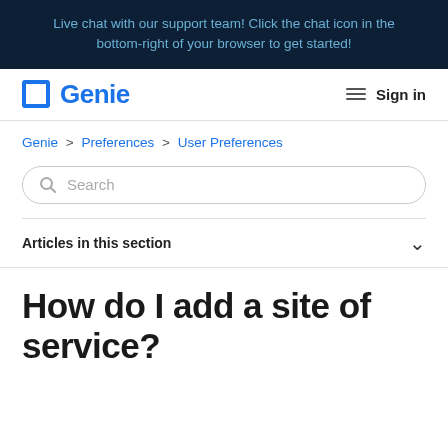Live chat with our support team! Click the chat icon in the bottom-right of your browser to get started!
[Figure (logo): Genie logo with blue square outline and blue bold text 'Genie']
Sign in
Genie > Preferences > User Preferences
Search
Articles in this section
How do I add a site of service?